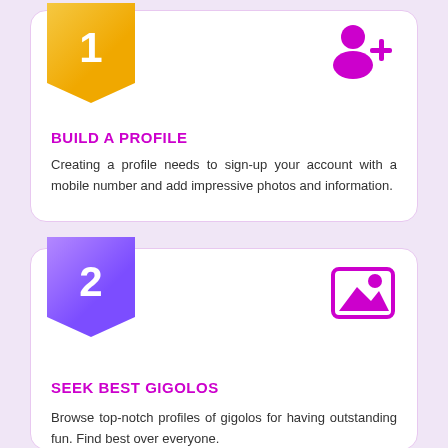[Figure (infographic): Card 1 with gold number badge '1', purple add-user icon top right, magenta section header 'BUILD A PROFILE', and body text about creating a profile.]
BUILD A PROFILE
Creating a profile needs to sign-up your account with a mobile number and add impressive photos and information.
[Figure (infographic): Card 2 with purple number badge '2', purple image/landscape icon top right, magenta section header 'SEEK BEST GIGOLOS', and body text about browsing profiles.]
SEEK BEST GIGOLOS
Browse top-notch profiles of gigolos for having outstanding fun. Find best over everyone.